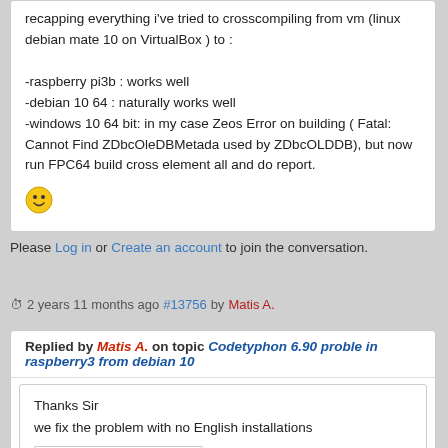recapping everything i've tried to crosscompiling from vm (linux debian mate 10 on VirtualBox ) to :

-raspberry pi3b : works well
-debian 10 64 : naturally works well
-windows 10 64 bit: in my case Zeos Error on building ( Fatal: Cannot Find ZDbcOleDBMetada used by ZDbcOLDDB), but now run FPC64 build cross element all and do report.
[Figure (illustration): Yellow smiley face emoji]
Please Log in or Create an account to join the conversation.
2 years 11 months ago #13756 by Matis A.
Replied by Matis A. on topic Codetyphon 6.90 proble in raspberry3 from debian 10
Thanks Sir
we fix the problem with no English installations
PilotLogic Core Programmer